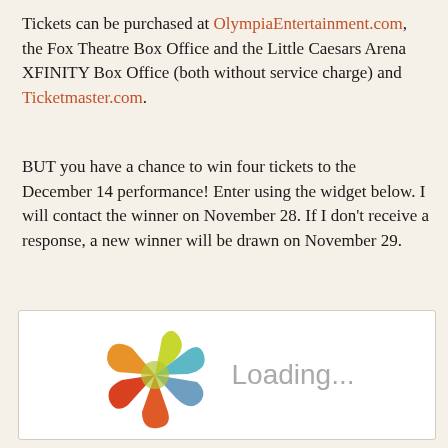Tickets can be purchased at OlympiaEntertainment.com, the Fox Theatre Box Office and the Little Caesars Arena XFINITY Box Office (both without service charge) and Ticketmaster.com.
BUT you have a chance to win four tickets to the December 14 performance! Enter using the widget below. I will contact the winner on November 28. If I don't receive a response, a new winner will be drawn on November 29.
[Figure (screenshot): A loading widget box with a colorful pinwheel/flower icon and 'Loading...' text in gray]